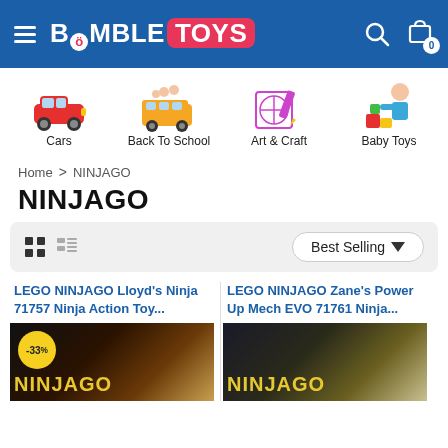BumbleToys website header with logo, search and cart icons
[Figure (illustration): Cars category icon - red toy car]
[Figure (illustration): Back To School category icon - school bus with children]
[Figure (illustration): Art & Craft category icon - drawing pad with pencil]
[Figure (illustration): Baby Toys category icon - child with blocks]
Home > NINJAGO
NINJAGO
Best Selling
LEGO NINJAGO Lloyd's Ninja 71757 Ninja Action Toy...
LEGO NINJAGO Zane's Power Up Mech EVO 71761 Ninja...
[Figure (photo): LEGO NINJAGO Lloyd's Ninja 71757 product box image with -33% discount badge]
[Figure (photo): LEGO NINJAGO Zane's Power Up Mech EVO 71761 product box image]